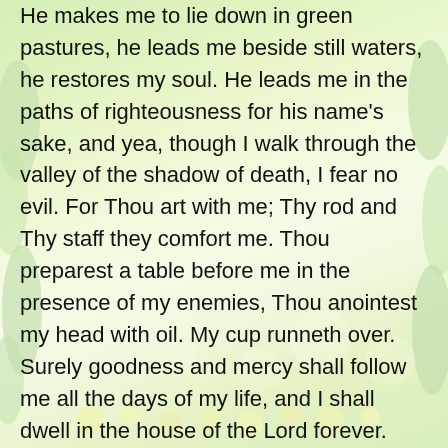He makes me to lie down in green pastures, he leads me beside still waters, he restores my soul. He leads me in the paths of righteousness for his name's sake, and yea, though I walk through the valley of the shadow of death, I fear no evil. For Thou art with me; Thy rod and Thy staff they comfort me. Thou preparest a table before me in the presence of my enemies, Thou anointest my head with oil. My cup runneth over. Surely goodness and mercy shall follow me all the days of my life, and I shall dwell in the house of the Lord forever.
If we pay attention to this well-worn Psalm, we see an important but subtle transition take place. The Psalmist starts out talking about God: "The Lord is my shepherd… He makes me to lie down